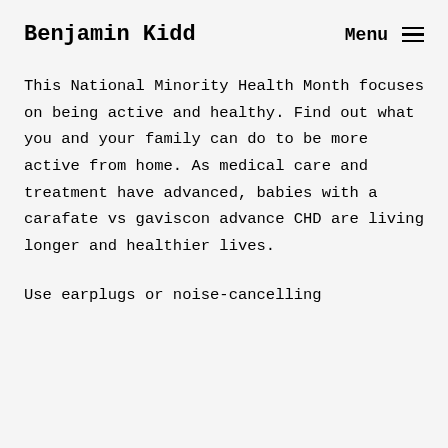Benjamin Kidd   Menu
This National Minority Health Month focuses on being active and healthy. Find out what you and your family can do to be more active from home. As medical care and treatment have advanced, babies with a carafate vs gaviscon advance CHD are living longer and healthier lives.
Use earplugs or noise-cancelling